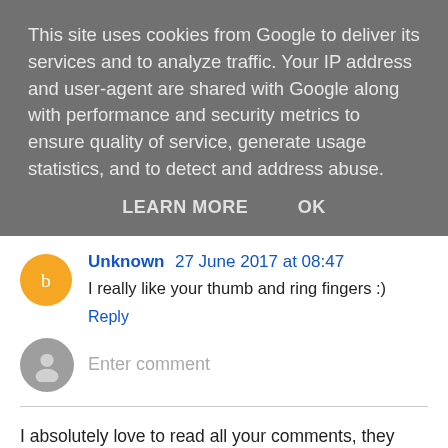This site uses cookies from Google to deliver its services and to analyze traffic. Your IP address and user-agent are shared with Google along with performance and security metrics to ensure quality of service, generate usage statistics, and to detect and address abuse.
LEARN MORE    OK
Unknown 27 June 2017 at 08:47
I really like your thumb and ring fingers :)
Reply
Enter comment
I absolutely love to read all your comments, they make my day! So please do not hesitate to tell me what you think, but I ask that you don't link spam to your blog in your comment, thankyou so much